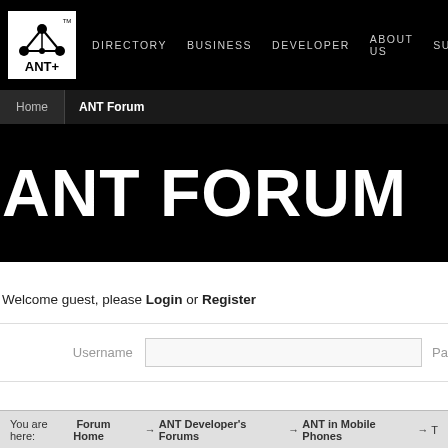[Figure (logo): ANT+ logo: white square with network node icon and ANT+ text]
DIRECTORY   BUSINESS   DEVELOPER   ABOUT US   SUPPORT
Home  ANT Forum
ANT FORUM
Welcome guest, please Login or Register
Username   [input field]   Pa[ssword]
You are here: Forum Home → ANT Developer's Forums → ANT in Mobile Phones →